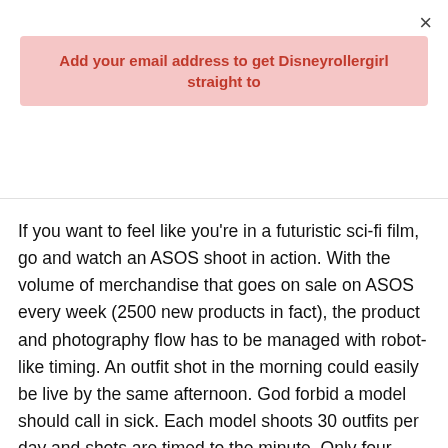×
Add your email address to get Disneyrollergirl straight to
If you want to feel like you're in a futuristic sci-fi film, go and watch an ASOS shoot in action. With the volume of merchandise that goes on sale on ASOS every week (2500 new products in fact), the product and photography flow has to be managed with robot-like timing. An outfit shot in the morning could easily be live by the same afternoon. God forbid a model should call in sick. Each model shoots 30 outfits per day and shots are timed to the minute. Only four minutes are assigned per shot so while one model is on set, another will be on the catwalk to maximize time and workforce.